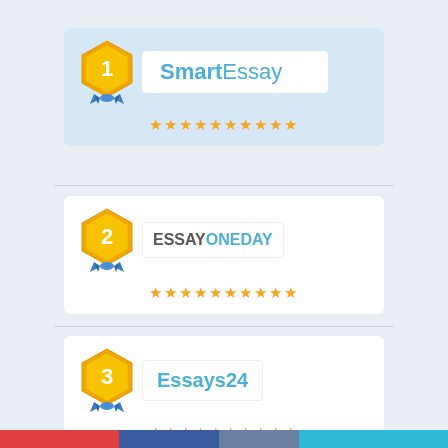[Figure (logo): Rank 1 badge with SmartEssay logo on light blue background card]
[Figure (infographic): Star rating row - 10 orange stars for SmartEssay]
[Figure (logo): Rank 2 badge with EssayOneDay logo on white card]
[Figure (infographic): Star rating row - 10 orange stars for EssayOneDay]
[Figure (logo): Rank 3 badge with Essays24 logo on white card]
[Figure (infographic): Star rating row - 10 orange stars for Essays24]